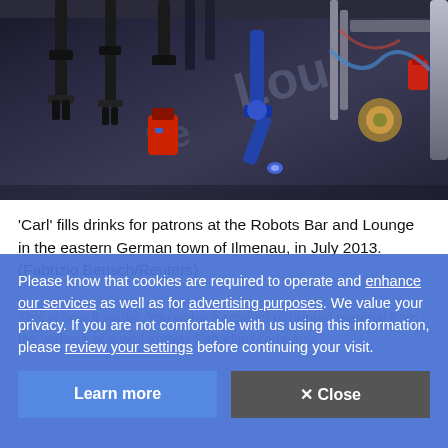[Figure (photo): Robotic arms behind a bar counter at the Robots Bar and Lounge, showing mechanical arms with grippers, blue and red components, metallic surfaces, with 'Loun' visible in the background signage.]
'Carl' fills drinks for patrons at the Robots Bar and Lounge in the eastern German town of Ilmenau, in July 2013. (Fabrizio Bensch/Reuters)
Please know that cookies are required to operate and enhance our services as well as for advertising purposes. We value your privacy. If you are not comfortable with us using this information, please review your settings before continuing your visit.
This is how it works. You order a product or printed material from the website of a well-known Canadian company.